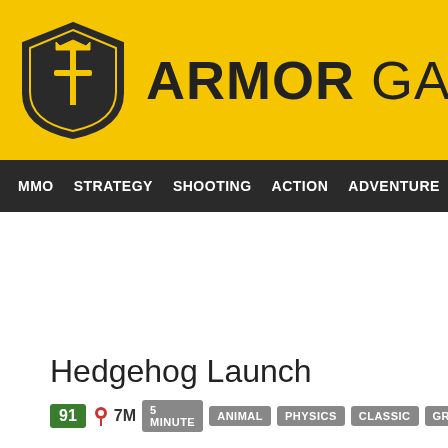ARMOR GAMES
MMO  STRATEGY  SHOOTING  ACTION  ADVENTURE  P
Hedgehog Launch
91  🖈 7M  5 MINUTE  ANIMAL  PHYSICS  CLASSIC  GRAVITY